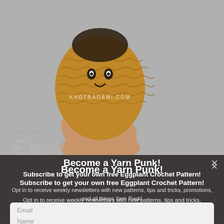[Figure (photo): A hand holding a small crocheted amigurumi figure in tan/brown yarn with dark embroidered details, against a grey background. Website watermark 'KNOTBADAMI.COM' is visible.]
Become a Yarn Punk!
Subscribe to get your own free Eggplant Crochet Pattern!
Opt in to receive weekly newsletters with new patterns, tips and tricks, promotions, and all things Yarn Punk!
Email
Name
SUBSCRIBE